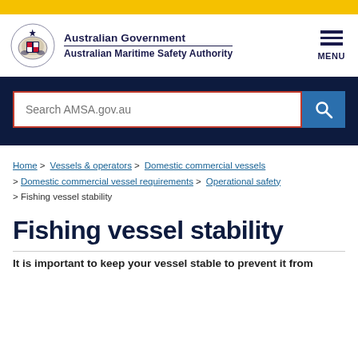[Figure (logo): Australian Government Australian Maritime Safety Authority logo with coat of arms]
[Figure (other): Hamburger menu icon with MENU label]
[Figure (other): Search bar with text 'Search AMSA.gov.au' and blue search button]
Home > Vessels & operators > Domestic commercial vessels > Domestic commercial vessel requirements > Operational safety > Fishing vessel stability
Fishing vessel stability
It is important to keep your vessel stable to prevent it from